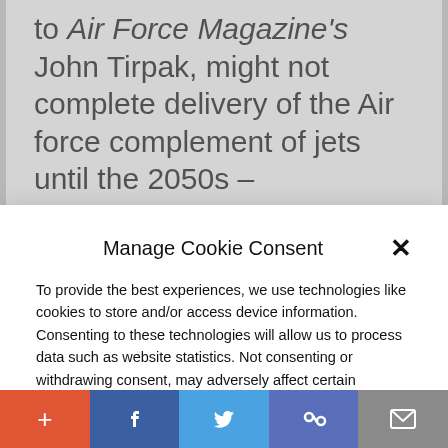to Air Force Magazine's John Tirpak, might not complete delivery of the Air force complement of jets until the 2050s –
Manage Cookie Consent
To provide the best experiences, we use technologies like cookies to store and/or access device information. Consenting to these technologies will allow us to process data such as website statistics. Not consenting or withdrawing consent, may adversely affect certain features and functions.
Accept
Cookie Policy   Privacy Policy
more than eight to ten years to begin sea